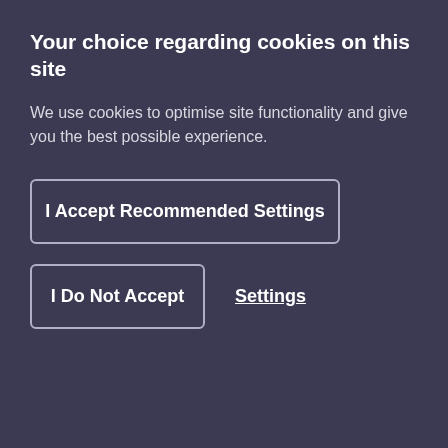Your choice regarding cookies on this site
We use cookies to optimise site functionality and give you the best possible experience.
I Accept Recommended Settings
I Do Not Accept
Settings
SEARCH NOW
[Figure (infographic): LinkedIn and Twitter social media icons in grey on dark navy background]
SIGN-UP TO R3 EMAILS AND MORE